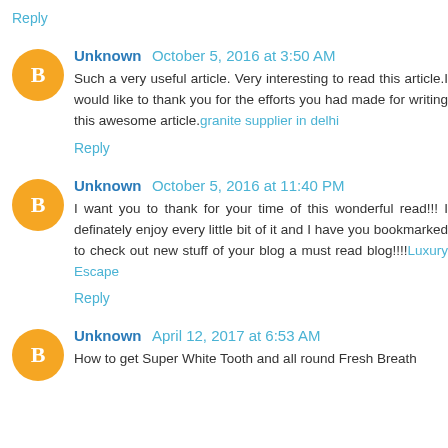Reply
Unknown October 5, 2016 at 3:50 AM
Such a very useful article. Very interesting to read this article.I would like to thank you for the efforts you had made for writing this awesome article.granite supplier in delhi
Reply
Unknown October 5, 2016 at 11:40 PM
I want you to thank for your time of this wonderful read!!! I definately enjoy every little bit of it and I have you bookmarked to check out new stuff of your blog a must read blog!!!!Luxury Escape
Reply
Unknown April 12, 2017 at 6:53 AM
How to get Super White Tooth and all round Fresh Breath